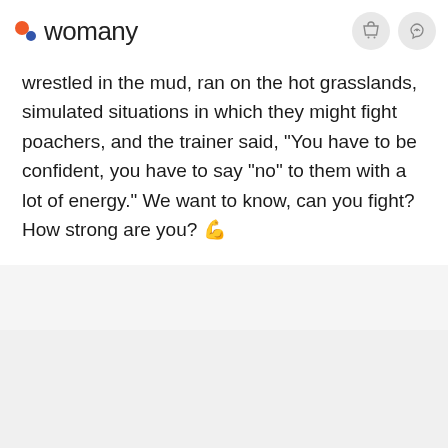womany
wrestled in the mud, ran on the hot grasslands, simulated situations in which they might fight poachers, and the trainer said, "You have to be confident, you have to say "no" to them with a lot of energy." We want to know, can you fight? How strong are you? 💪